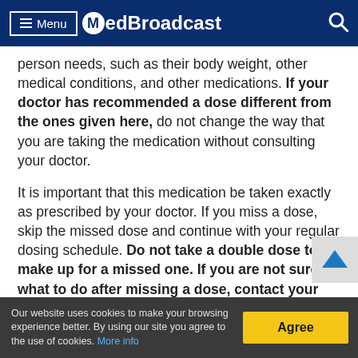Menu | MedBroadcast
person needs, such as their body weight, other medical conditions, and other medications. If your doctor has recommended a dose different from the ones given here, do not change the way that you are taking the medication without consulting your doctor.
It is important that this medication be taken exactly as prescribed by your doctor. If you miss a dose, skip the missed dose and continue with your regular dosing schedule. Do not take a double dose to make up for a missed one. If you are not sure what to do after missing a dose, contact your doctor or pharmacist for advice.
Store this medication...
Our website uses cookies to make your browsing experience better. By using our site you agree to the use of cookies. More info | Agree